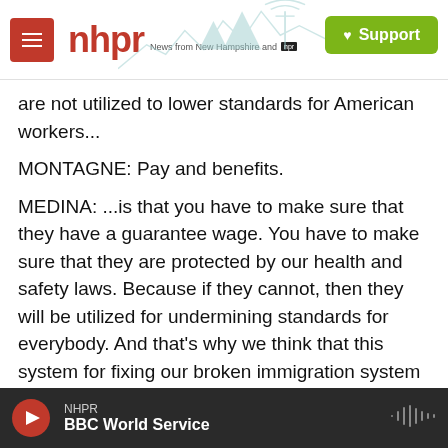nhpr — News from New Hampshire and NPR | Support
are not utilized to lower standards for American workers...
MONTAGNE: Pay and benefits.
MEDINA: ...is that you have to make sure that they have a guarantee wage. You have to make sure that they are protected by our health and safety laws. Because if they cannot, then they will be utilized for undermining standards for everybody. And that's why we think that this system for fixing our broken immigration system has to be a comprehensive approach.
NHPR — BBC World Service